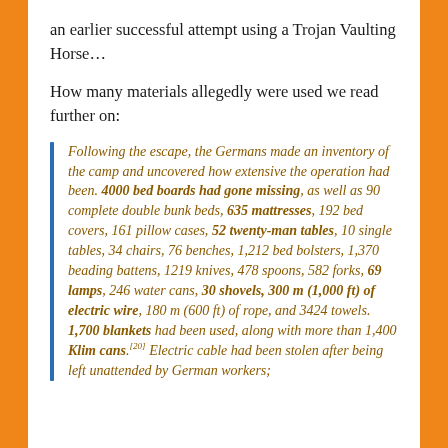an earlier successful attempt using a Trojan Vaulting Horse...
How many materials allegedly were used we read further on:
Following the escape, the Germans made an inventory of the camp and uncovered how extensive the operation had been. 4000 bed boards had gone missing, as well as 90 complete double bunk beds, 635 mattresses, 192 bed covers, 161 pillow cases, 52 twenty-man tables, 10 single tables, 34 chairs, 76 benches, 1,212 bed bolsters, 1,370 beading battens, 1219 knives, 478 spoons, 582 forks, 69 lamps, 246 water cans, 30 shovels, 300 m (1,000 ft) of electric wire, 180 m (600 ft) of rope, and 3424 towels. 1,700 blankets had been used, along with more than 1,400 Klim cans.[20] Electric cable had been stolen after being left unattended by German workers;